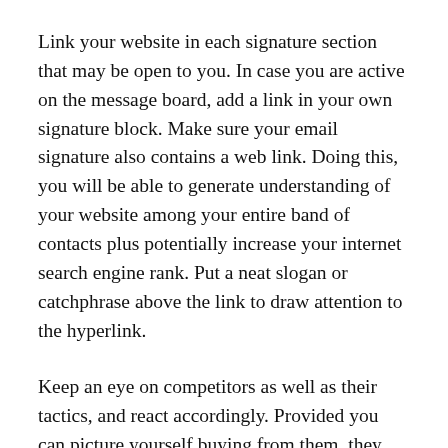Link your website in each signature section that may be open to you. In case you are active on the message board, add a link in your own signature block. Make sure your email signature also contains a web link. Doing this, you will be able to generate understanding of your website among your entire band of contacts plus potentially increase your internet search engine rank. Put a neat slogan or catchphrase above the link to draw attention to the hyperlink.
Keep an eye on competitors as well as their tactics, and react accordingly. Provided you can picture yourself buying from them, they may be achieving success and you should try to incorporate some of their techniques to your own strategy.
Put in serious amounts of develop the world wide web